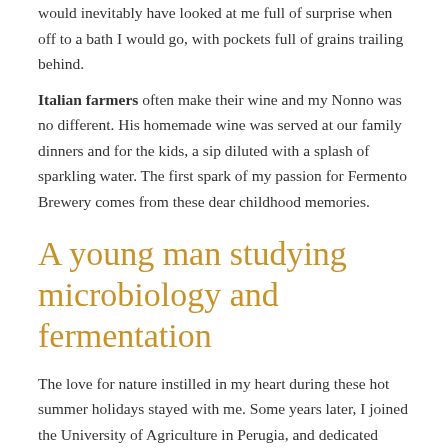would inevitably have looked at me full of surprise when off to a bath I would go, with pockets full of grains trailing behind. Italian farmers often make their wine and my Nonno was no different. His homemade wine was served at our family dinners and for the kids, a sip diluted with a splash of sparkling water. The first spark of my passion for Fermento Brewery comes from these dear childhood memories.
A young man studying microbiology and fermentation
The love for nature instilled in my heart during these hot summer holidays stayed with me. Some years later, I joined the University of Agriculture in Perugia, and dedicated myself to the research of fermentation. Interestingly enough, the university laboratories have been situated in a 1,000-year-old